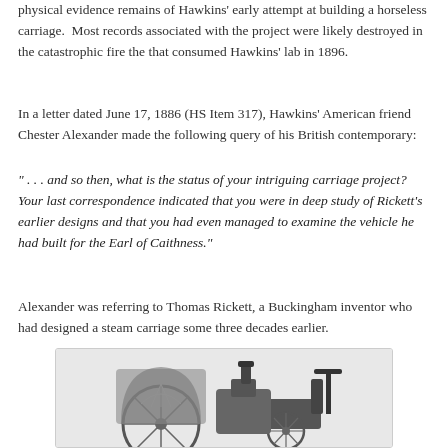physical evidence remains of Hawkins' early attempt at building a horseless carriage.  Most records associated with the project were likely destroyed in the catastrophic fire the that consumed Hawkins' lab in 1896.
In a letter dated June 17, 1886 (HS Item 317), Hawkins' American friend Chester Alexander made the following query of his British contemporary:
" . . . and so then, what is the status of your intriguing carriage project?  Your last correspondence indicated that you were in deep study of Rickett's earlier designs and that you had even managed to examine the vehicle he had built for the Earl of Caithness."
Alexander was referring to Thomas Rickett, a Buckingham inventor who had designed a steam carriage some three decades earlier.
[Figure (illustration): Black and white illustration of an early steam carriage, showing ornate wheel and mechanical details on the left side, and a seat/steering apparatus on the right side.]